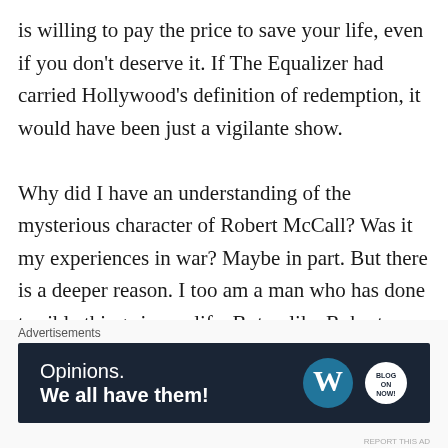is willing to pay the price to save your life, even if you don't deserve it. If The Equalizer had carried Hollywood's definition of redemption, it would have been just a vigilante show.

Why did I have an understanding of the mysterious character of Robert McCall? Was it my experiences in war? Maybe in part. But there is a deeper reason. I too am a man who has done terrible things in my life. But unlike Robert McCall, I found redemption because Someone else paid the price for me. Because
[Figure (other): Advertisement banner: dark navy background with text 'Opinions. We all have them!' on the left and WordPress logo and another circular logo on the right.]